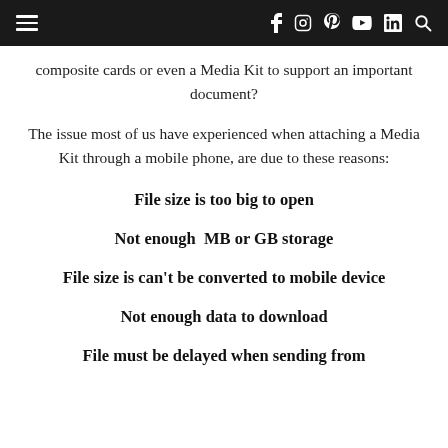Navigation bar with hamburger menu, social icons (f, instagram, pinterest, youtube, in), and search icon
composite cards or even a Media Kit to support an important document?
The issue most of us have experienced when attaching a Media Kit through a mobile phone, are due to these reasons:
File size is too big to open
Not enough MB or GB storage
File size is can't be converted to mobile device
Not enough data to download
File must be delayed when sending from